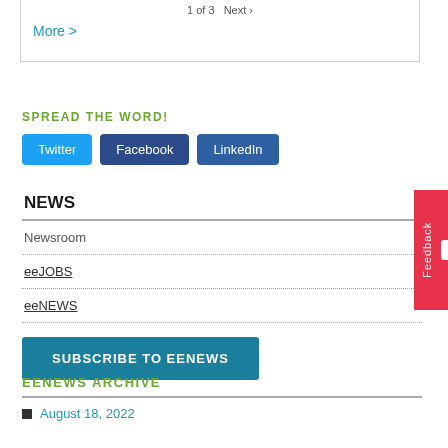1 of 3   Next ›
More >
SPREAD THE WORD!
Twitter  Facebook  LinkedIn
NEWS
Newsroom
eeJOBS
eeNEWS
SUBSCRIBE TO EENEWS
EENEWS ARCHIVE
August 18, 2022